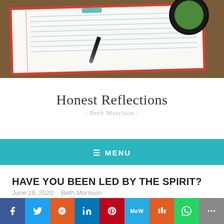[Figure (photo): Photo of an open notebook with lined pages and a pen resting on it, on a wooden desk with a green cup and saucer in the background]
Honest Reflections
- Beth Morrison -
≡ MENU
HAVE YOU BEEN LED BY THE SPIRIT?
June 19, 2020   Beth Morrison
[Figure (infographic): Social media share bar with icons for Facebook, Twitter, Reddit, LinkedIn, Pinterest, MeWe, Mix, WhatsApp, and More]